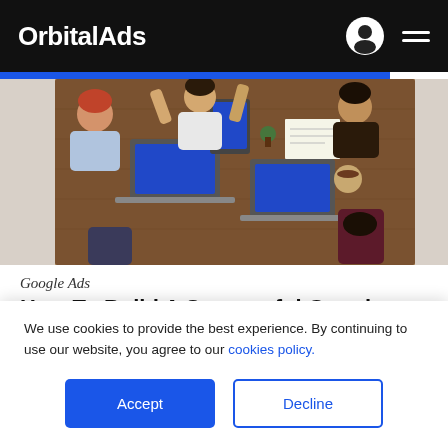OrbitalAds
[Figure (photo): Overhead view of people sitting around a wooden conference table with laptops and tablets with blue screens open, reaching across the table]
Google Ads
How To Build A Successful Google Ads Strategy For A Startup
We use cookies to provide the best experience. By continuing to use our website, you agree to our cookies policy.